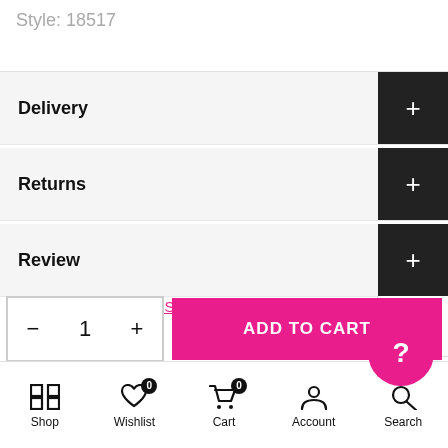Style: 18517
Delivery
Returns
Review
XS / Black
- 1 + ADD TO CART
Shop  Wishlist  Cart  Account  Search